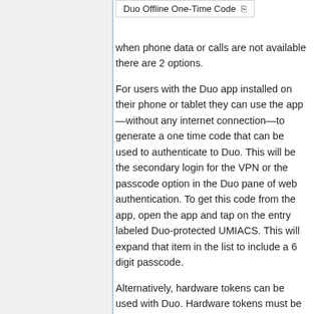[Figure (screenshot): Duo Offline One-Time Code button/label with icon]
when phone data or calls are not available there are 2 options.
For users with the Duo app installed on their phone or tablet they can use the app—without any internet connection—to generate a one time code that can be used to authenticate to Duo. This will be the secondary login for the VPN or the passcode option in the Duo pane of web authentication. To get this code from the app, open the app and tap on the entry labeled Duo-protected UMIACS. This will expand that item in the list to include a 6 digit passcode.
Alternatively, hardware tokens can be used with Duo. Hardware tokens must be enrolled by the Technical staff, so if you are interested in procuring a